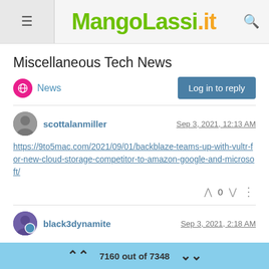MangoLassi.it
Miscellaneous Tech News
News | Log in to reply
scottalanmiller — Sep 3, 2021, 12:13 AM
https://9to5mac.com/2021/09/01/backblaze-teams-up-with-vultr-for-new-cloud-storage-competitor-to-amazon-google-and-microsoft/
black3dynamite — Sep 3, 2021, 2:18 AM
Old news but Microsoft abandons semi-annual releases for
7160 out of 7348